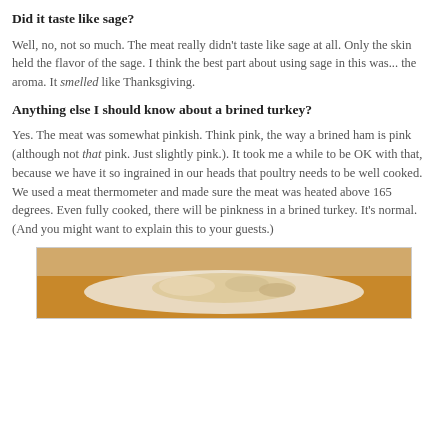Did it taste like sage?
Well, no, not so much. The meat really didn't taste like sage at all. Only the skin held the flavor of the sage. I think the best part about using sage in this was... the aroma. It smelled like Thanksgiving.
Anything else I should know about a brined turkey?
Yes. The meat was somewhat pinkish. Think pink, the way a brined ham is pink (although not that pink. Just slightly pink.). It took me a while to be OK with that, because we have it so ingrained in our heads that poultry needs to be well cooked. We used a meat thermometer and made sure the meat was heated above 165 degrees. Even fully cooked, there will be pinkness in a brined turkey. It's normal. (And you might want to explain this to your guests.)
[Figure (photo): A close-up photo of food on a plate, with a warm brown/orange background]